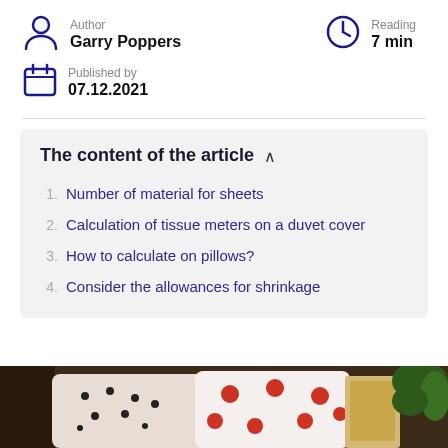Author
Garry Poppers
Reading
7 min
Published by
07.12.2021
The content of the article
1. Number of material for sheets
2. Calculation of tissue meters on a duvet cover
3. How to calculate on pillows?
4. Consider the allowances for shrinkage
[Figure (photo): Photo of decorative pillows on a couch, partially visible at the bottom of the page]